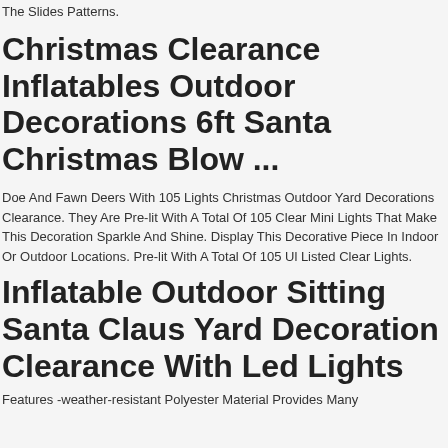The Slides Patterns.
Christmas Clearance Inflatables Outdoor Decorations 6ft Santa Christmas Blow ...
Doe And Fawn Deers With 105 Lights Christmas Outdoor Yard Decorations Clearance. They Are Pre-lit With A Total Of 105 Clear Mini Lights That Make This Decoration Sparkle And Shine. Display This Decorative Piece In Indoor Or Outdoor Locations. Pre-lit With A Total Of 105 Ul Listed Clear Lights.
Inflatable Outdoor Sitting Santa Claus Yard Decoration Clearance With Led Lights
Features -weather-resistant Polyester Material Provides Many